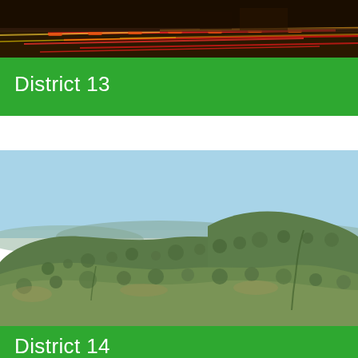[Figure (photo): Night highway photo showing red and yellow light streaks from vehicles on a freeway, partially visible at top of page]
District 13
[Figure (photo): Daytime landscape photo of rugged hills covered with chaparral and scrub vegetation under a clear blue sky]
District 14